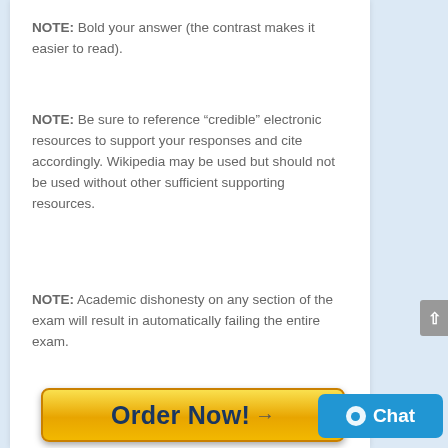NOTE:  Bold your answer (the contrast makes it easier to read).
NOTE:  Be sure to reference “credible” electronic resources to support your responses and cite accordingly. Wikipedia may be used but should not be used without other sufficient supporting resources.
NOTE: Academic dishonesty on any section of the exam will result in automatically failing the entire exam.
[Figure (other): Orange gradient 'Order Now!' button with cursor icon, followed by payment icons: VISA, MasterCard, American Express, Discover, PayPal, 100% Secure SSL Encryption badge]
[Figure (other): Blue 'Chat' button with circle icon in bottom right corner]